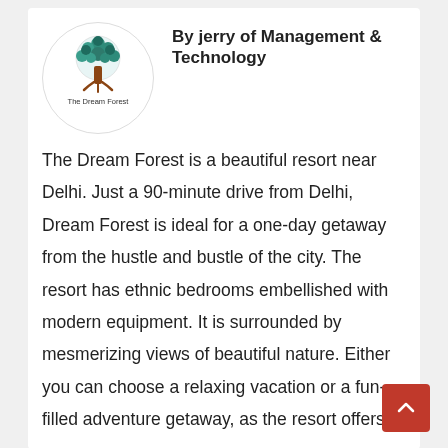[Figure (logo): The Dream Forest logo: a circular badge with a stylized tree, teal/dark green leaf canopy and brown trunk, with text 'The Dream Forest' below]
By jerry of Management & Technology
The Dream Forest is a beautiful resort near Delhi. Just a 90-minute drive from Delhi, Dream Forest is ideal for a one-day getaway from the hustle and bustle of the city. The resort has ethnic bedrooms embellished with modern equipment. It is surrounded by mesmerizing views of beautiful nature. Either you can choose a relaxing vacation or a fun-filled adventure getaway, as the resort offers a